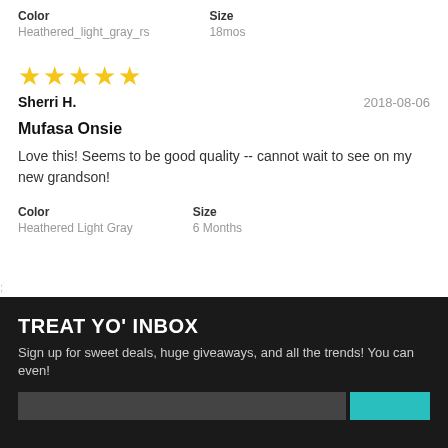Color: Heathered_light_gray_rs  Size: 18mos
[Figure (other): 5 gold star rating]
Sherri H.  2018-08-06
Mufasa Onsie
Love this! Seems to be good quality -- cannot wait to see on my new grandson!
Color: Heathered Light Gray  Size: 6 Months
TREAT YO' INBOX
Sign up for sweet deals, huge giveaways, and all the trends! You can even!